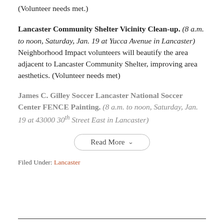(Volunteer needs met.)
Lancaster Community Shelter Vicinity Clean-up. (8 a.m. to noon, Saturday, Jan. 19 at Yucca Avenue in Lancaster) Neighborhood Impact volunteers will beautify the area adjacent to Lancaster Community Shelter, improving area aesthetics. (Volunteer needs met)
James C. Gilley Soccer Lancaster National Soccer Center FENCE Painting. (8 a.m. to noon, Saturday, Jan. 19 at 43000 30th Street East in Lancaster)
Read More
Filed Under: Lancaster